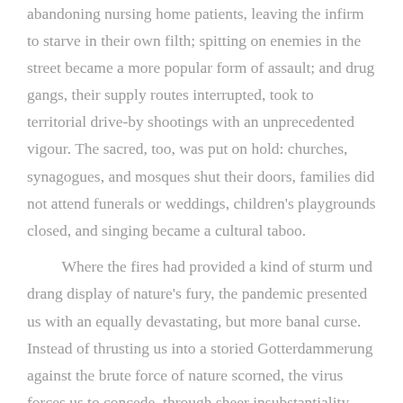abandoning nursing home patients, leaving the infirm to starve in their own filth; spitting on enemies in the street became a more popular form of assault; and drug gangs, their supply routes interrupted, took to territorial drive-by shootings with an unprecedented vigour. The sacred, too, was put on hold: churches, synagogues, and mosques shut their doors, families did not attend funerals or weddings, children's playgrounds closed, and singing became a cultural taboo.

Where the fires had provided a kind of sturm und drang display of nature's fury, the pandemic presented us with an equally devastating, but more banal curse. Instead of thrusting us into a storied Gotterdammerung against the brute force of nature scorned, the virus forces us to concede, through sheer insubstantiality, that we too are simply another frail and